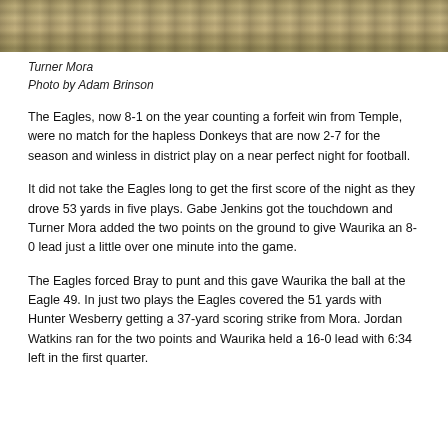[Figure (photo): Partial view of a football game photo showing sandy/dirt field area, cropped at top]
Turner Mora
Photo by Adam Brinson
The Eagles, now 8-1 on the year counting a forfeit win from Temple, were no match for the hapless Donkeys that are now 2-7 for the season and winless in district play on a near perfect night for football.
It did not take the Eagles long to get the first score of the night as they drove 53 yards in five plays. Gabe Jenkins got the touchdown and Turner Mora added the two points on the ground to give Waurika an 8-0 lead just a little over one minute into the game.
The Eagles forced Bray to punt and this gave Waurika the ball at the Eagle 49. In just two plays the Eagles covered the 51 yards with Hunter Wesberry getting a 37-yard scoring strike from Mora. Jordan Watkins ran for the two points and Waurika held a 16-0 lead with 6:34 left in the first quarter.